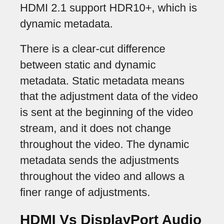HDMI 2.1 support HDR10+, which is dynamic metadata.
There is a clear-cut difference between static and dynamic metadata. Static metadata means that the adjustment data of the video is sent at the beginning of the video stream, and it does not change throughout the video. The dynamic metadata sends the adjustments throughout the video and allows a finer range of adjustments.
HDMI Vs DisplayPort Audio Transmission